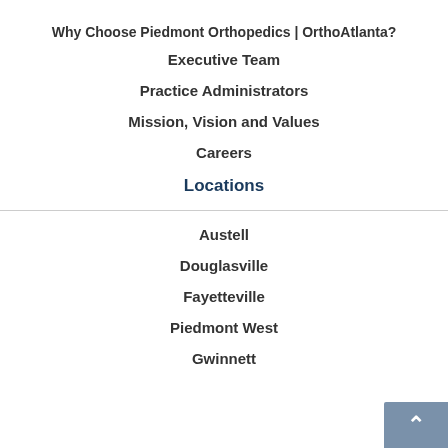Why Choose Piedmont Orthopedics | OrthoAtlanta?
Executive Team
Practice Administrators
Mission, Vision and Values
Careers
Locations
Austell
Douglasville
Fayetteville
Piedmont West
Gwinnett